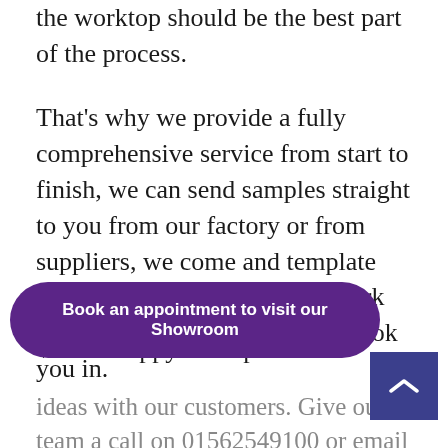the worktop should be the best part of the process.
That's why we provide a fully comprehensive service from start to finish, we can send samples straight to you from our factory or from suppliers, we come and template when you are ready, and we work around your kitchen fitters to book you in.
We are happy to help and
ideas with our customers. Give our team a call on 01562549100 or email